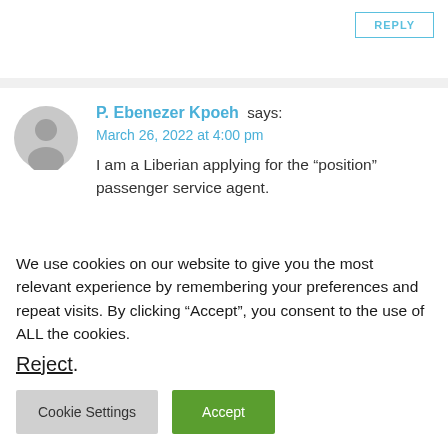REPLY
P. Ebenezer Kpoeh says:
March 26, 2022 at 4:00 pm
I am a Liberian applying for the “position” passenger service agent.
REPLY
We use cookies on our website to give you the most relevant experience by remembering your preferences and repeat visits. By clicking “Accept”, you consent to the use of ALL the cookies.
Reject.
Cookie Settings
Accept